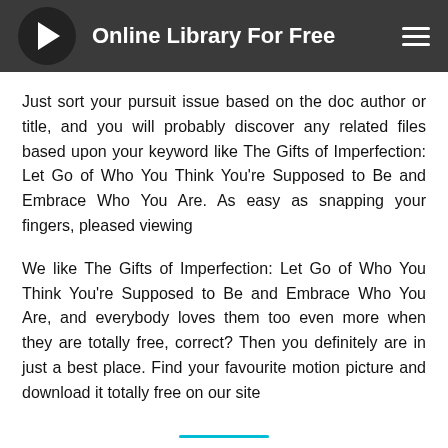Online Library For Free
Just sort your pursuit issue based on the doc author or title, and you will probably discover any related files based upon your keyword like The Gifts of Imperfection: Let Go of Who You Think You're Supposed to Be and Embrace Who You Are. As easy as snapping your fingers, pleased viewing
We like The Gifts of Imperfection: Let Go of Who You Think You're Supposed to Be and Embrace Who You Are, and everybody loves them too even more when they are totally free, correct? Then you definitely are in just a best place. Find your favourite motion picture and download it totally free on our site